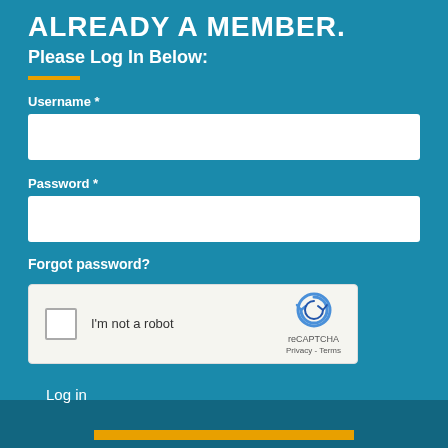ALREADY A MEMBER.
Please Log In Below:
Username *
Password *
Forgot password?
[Figure (other): reCAPTCHA widget with checkbox labeled 'I'm not a robot' and reCAPTCHA logo with Privacy and Terms links]
Log in